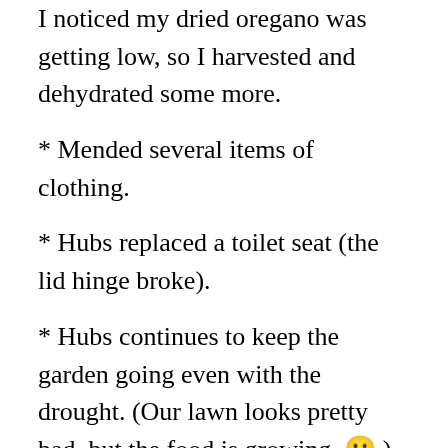I noticed my dried oregano was getting low, so I harvested and dehydrated some more.
* Mended several items of clothing.
* Hubs replaced a toilet seat (the lid hinge broke).
* Hubs continues to keep the garden going even with the drought. (Our lawn looks pretty bad, but the food is growing. 🙂 )